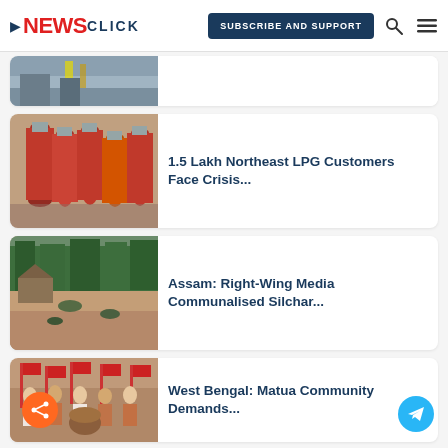NewsClick — SUBSCRIBE AND SUPPORT
[Figure (screenshot): Partially visible article card showing a railway station or industrial area image (cropped at top)]
[Figure (photo): Rows of red LPG gas cylinders]
1.5 Lakh Northeast LPG Customers Face Crisis...
[Figure (photo): Flooded area in Assam with submerged houses and trees]
Assam: Right-Wing Media Communalised Silchar...
[Figure (photo): West Bengal community gathering with red flags and people in traditional attire]
West Bengal: Matua Community Demands...